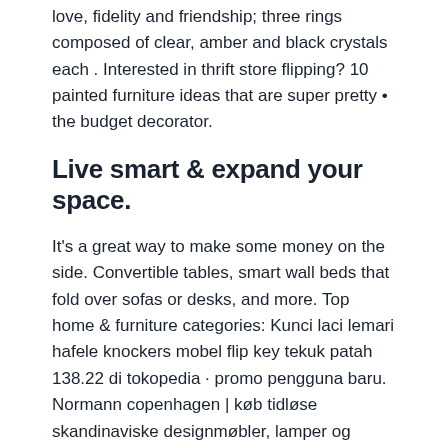love, fidelity and friendship; three rings composed of clear, amber and black crystals each . Interested in thrift store flipping? 10 painted furniture ideas that are super pretty • the budget decorator.
Live smart & expand your space.
It's a great way to make some money on the side. Convertible tables, smart wall beds that fold over sofas or desks, and more. Top home & furniture categories: Kunci laci lemari hafele knockers mobel flip key tekuk patah 138.22 di tokopedia · promo pengguna baru. Normann copenhagen | køb tidløse skandinaviske designmøbler, lamper og accessories. Dressed up as inviting homes with designs from our . Live smart & expand your space. To revisit this article, visit my profile, then view saved stories. Our stores are designed with mindful retail and beautiful experiences in mind. Kunci laci / lemari hafele flip key / tekuk patah di tokopedia · promo pengguna baru ·